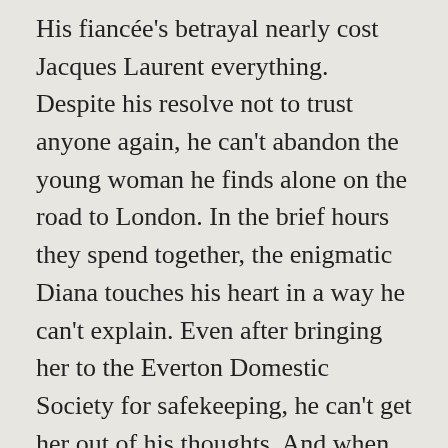His fiancée's betrayal nearly cost Jacques Laurent everything. Despite his resolve not to trust anyone again, he can't abandon the young woman he finds alone on the road to London. In the brief hours they spend together, the enigmatic Diana touches his heart in a way he can't explain. Even after bringing her to the Everton Domestic Society for safekeeping, he can't get her out of his thoughts. And when he next encounters her, working as assistant to a renowned scientist, he becomes even more intrigued...
The Society's kindness is especially welcome after everything Diana endured in a French prison, but she fears for the safety of those who get close to her. French spies are on her trail, convinced that her scientific knowledge can help them win the war. As peril draws them irrevocably together, Diana and Jacques succumb to mutual desire. But love may be